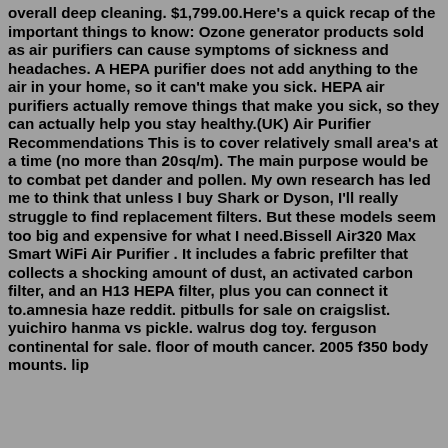overall deep cleaning. $1,799.00.Here's a quick recap of the important things to know: Ozone generator products sold as air purifiers can cause symptoms of sickness and headaches. A HEPA purifier does not add anything to the air in your home, so it can't make you sick. HEPA air purifiers actually remove things that make you sick, so they can actually help you stay healthy.(UK) Air Purifier Recommendations This is to cover relatively small area's at a time (no more than 20sq/m). The main purpose would be to combat pet dander and pollen. My own research has led me to think that unless I buy Shark or Dyson, I'll really struggle to find replacement filters. But these models seem too big and expensive for what I need.Bissell Air320 Max Smart WiFi Air Purifier . It includes a fabric prefilter that collects a shocking amount of dust, an activated carbon filter, and an H13 HEPA filter, plus you can connect it to.amnesia haze reddit. pitbulls for sale on craigslist. yuichiro hanma vs pickle. walrus dog toy. ferguson continental for sale. floor of mouth cancer. 2005 f350 body mounts. lip